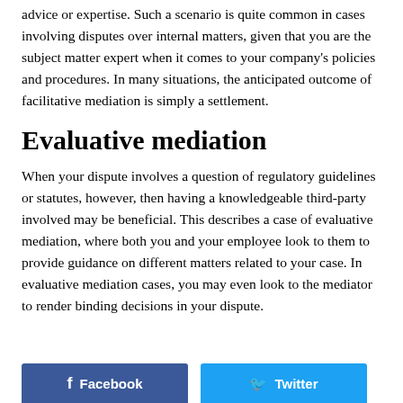advice or expertise. Such a scenario is quite common in cases involving disputes over internal matters, given that you are the subject matter expert when it comes to your company's policies and procedures. In many situations, the anticipated outcome of facilitative mediation is simply a settlement.
Evaluative mediation
When your dispute involves a question of regulatory guidelines or statutes, however, then having a knowledgeable third-party involved may be beneficial. This describes a case of evaluative mediation, where both you and your employee look to them to provide guidance on different matters related to your case. In evaluative mediation cases, you may even look to the mediator to render binding decisions in your dispute.